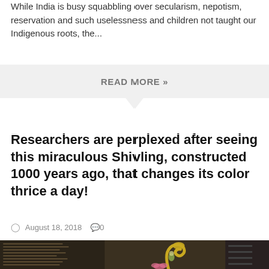While India is busy squabbling over secularism, nepotism, reservation and such uselessness and children not taught our Indigenous roots, the...
READ MORE »
Researchers are perplexed after seeing this miraculous Shivling, constructed 1000 years ago, that changes its color thrice a day!
August 18, 2018  0
[Figure (photo): Photo of a Shivling shrine with a golden cobra (Nagdevta), a small deity figurine, a pink lotus flower, and an inscription stone with Sanskrit/Devanagari text, set against a dark background.]